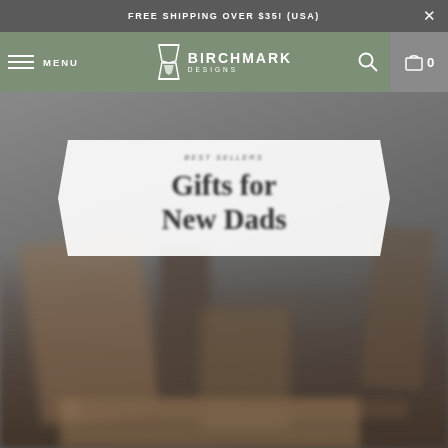FREE SHIPPING OVER $35! (USA)
[Figure (screenshot): Birchmark Designs e-commerce website header with navigation bar showing menu, logo, search and cart icons, and a hero image of a blog post titled 'Gifts for New Dads' overlaid on a blurred gray background with wooden items.]